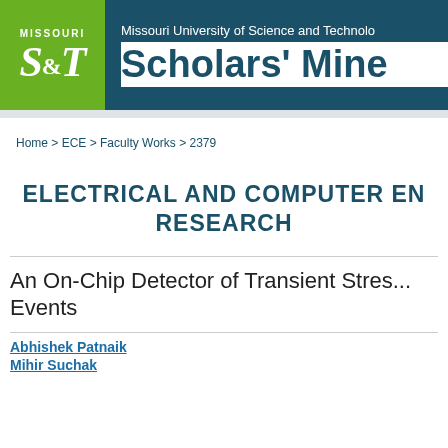[Figure (logo): Missouri S&T Scholars' Mine header logo with green S&T box and dark teal background with white text]
Home > ECE > Faculty Works > 2379
ELECTRICAL AND COMPUTER EN... RESEARCH
An On-Chip Detector of Transient Stres... Events
Abhishek Patnaik
Mihir Suchak